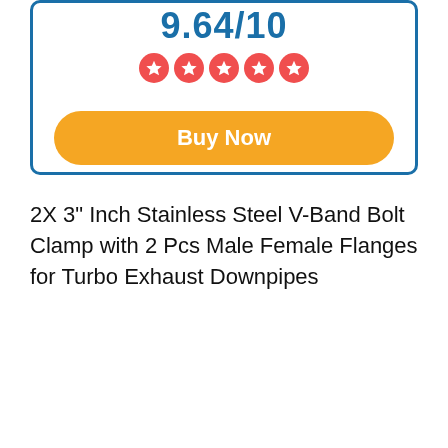9.64/10
[Figure (other): Five red star rating circles]
Buy Now
2X 3" Inch Stainless Steel V-Band Bolt Clamp with 2 Pcs Male Female Flanges for Turbo Exhaust Downpipes
| Color | Stainless Steel |
| Prime Status | Yes |
| Warranty | - |
| Brand | POWERWORKS |